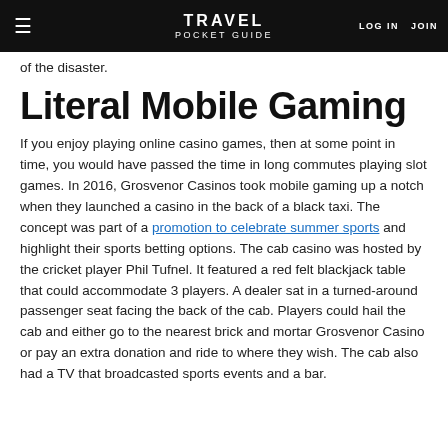☰  TRAVEL POCKET GUIDE  LOG IN  JOIN
of the disaster.
Literal Mobile Gaming
If you enjoy playing online casino games, then at some point in time, you would have passed the time in long commutes playing slot games. In 2016, Grosvenor Casinos took mobile gaming up a notch when they launched a casino in the back of a black taxi. The concept was part of a promotion to celebrate summer sports and highlight their sports betting options. The cab casino was hosted by the cricket player Phil Tufnel. It featured a red felt blackjack table that could accommodate 3 players. A dealer sat in a turned-around passenger seat facing the back of the cab. Players could hail the cab and either go to the nearest brick and mortar Grosvenor Casino or pay an extra donation and ride to where they wish. The cab also had a TV that broadcasted sports events and a bar.